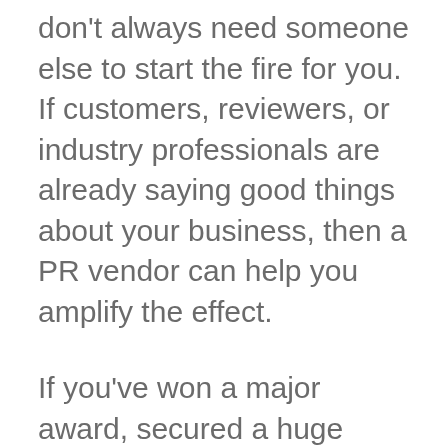don't always need someone else to start the fire for you. If customers, reviewers, or industry professionals are already saying good things about your business, then a PR vendor can help you amplify the effect.
If you've won a major award, secured a huge contract, or taken some other major step forward in your company, then it's worth thinking about the PR implications. You don't need a full-on public relations campaign to make an impact, you just have to work with